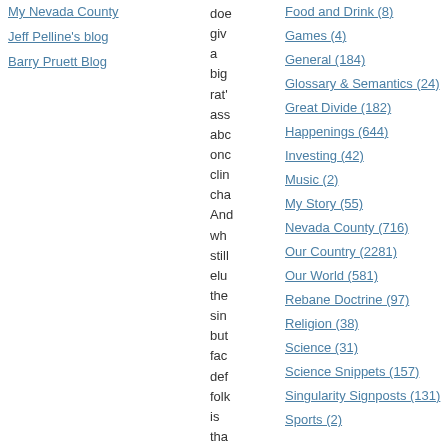My Nevada County
Jeff Pelline's blog
Barry Pruett Blog
doe giv a big rat' ass abc onc clin cha And wh still elu the sin but fac def folk is tha cor
Food and Drink (8)
Games (4)
General (184)
Glossary & Semantics (24)
Great Divide (182)
Happenings (644)
Investing (42)
Music (2)
My Story (55)
Nevada County (716)
Our Country (2281)
Our World (581)
Rebane Doctrine (97)
Religion (38)
Science (31)
Science Snippets (157)
Singularity Signposts (131)
Sports (2)